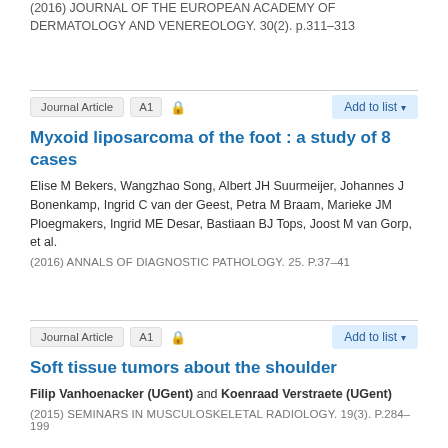(2016) JOURNAL OF THE EUROPEAN ACADEMY OF DERMATOLOGY AND VENEREOLOGY. 30(2). p.311-313
Journal Article  A1  🔒  Add to list ▾
Myxoid liposarcoma of the foot : a study of 8 cases
Elise M Bekers, Wangzhao Song, Albert JH Suurmeijer, Johannes J Bonenkamp, Ingrid C van der Geest, Petra M Braam, Marieke JM Ploegmakers, Ingrid ME Desar, Bastiaan BJ Tops, Joost M van Gorp, et al.
(2016) ANNALS OF DIAGNOSTIC PATHOLOGY. 25. p.37-41
Journal Article  A1  🔒  Add to list ▾
Soft tissue tumors about the shoulder
Filip Vanhoenacker (UGent) and Koenraad Verstraete (UGent)
(2015) SEMINARS IN MUSCULOSKELETAL RADIOLOGY. 19(3). p.284-199